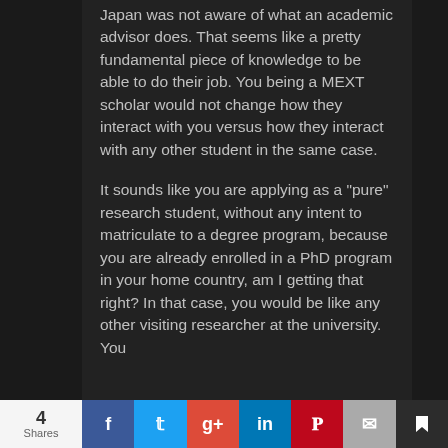Japan was not aware of what an academic advisor does. That seems like a pretty fundamental piece of knowledge to be able to do their job. You being a MEXT scholar would not change how they interact with you versus how they interact with any other student in the same case.
It sounds like you are applying as a "pure" research student, without any intent to matriculate to a degree program, because you are already enrolled in a PhD program in your home country, am I getting that right? In that case, you would be like any other visiting researcher at the university. You
4 Shares | Facebook | Twitter | Google+ | LinkedIn | Pinterest | Email | Bookmark